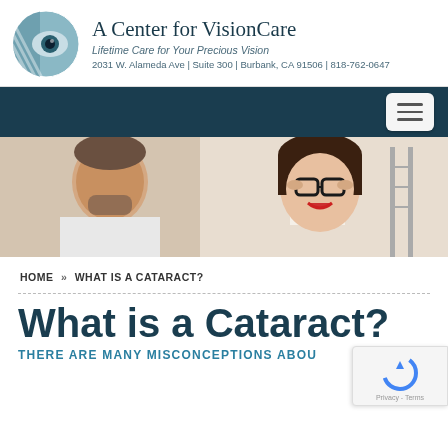A Center for VisionCare
Lifetime Care for Your Precious Vision
2031 W. Alameda Ave | Suite 300 | Burbank, CA 91506 | 818-762-0647
[Figure (logo): Circular eye logo with teal/blue color scheme for A Center for VisionCare]
[Figure (photo): Hero banner photo showing a male doctor in white coat and a smiling woman wearing glasses adjusting her frames, with an eye chart visible in the background]
HOME » WHAT IS A CATARACT?
What is a Cataract?
THERE ARE MANY MISCONCEPTIONS ABOU